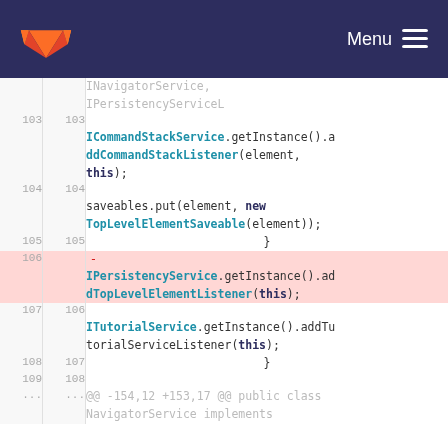GitLab — Menu
[Figure (screenshot): Code diff view showing Java source code lines 103-109 and ... with one deleted line (106) highlighted in pink. Shows ICommandStackService.getInstance().addCommandStackListener, saveables.put, TopLevelElementSaveable, IPersistencyService.getInstance().addTopLevelElementListener, ITutorialService.getInstance().addTutorialServiceListener calls.]